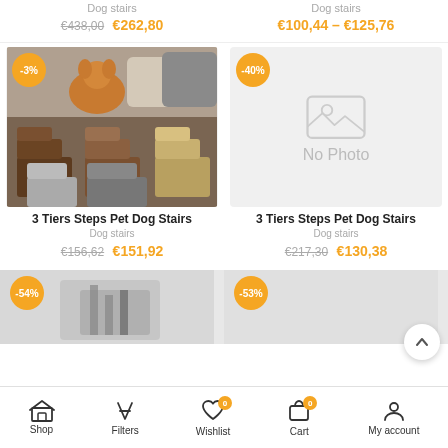Dog stairs
€438,00 €262,80
Dog stairs
€100,44 – €125,76
[Figure (photo): 3 Tiers Steps Pet Dog Stairs product image showing multiple dog stairs in brown, tan, grey, and dark grey colors with a dog on a sofa in background. Discount badge -3%]
[Figure (photo): No Photo placeholder image for product. Discount badge -40%]
3 Tiers Steps Pet Dog Stairs
Dog stairs
€156,62 €151,92
3 Tiers Steps Pet Dog Stairs
Dog stairs
€217,30 €130,38
[Figure (photo): Partially visible product image with -54% badge]
[Figure (photo): Partially visible product image with -53% badge]
Shop   Filters   Wishlist 0   Cart 0   My account